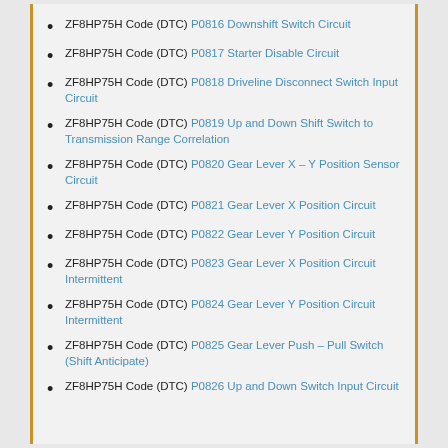ZF8HP75H Code (DTC) P0816 Downshift Switch Circuit
ZF8HP75H Code (DTC) P0817 Starter Disable Circuit
ZF8HP75H Code (DTC) P0818 Driveline Disconnect Switch Input Circuit
ZF8HP75H Code (DTC) P0819 Up and Down Shift Switch to Transmission Range Correlation
ZF8HP75H Code (DTC) P0820 Gear Lever X – Y Position Sensor Circuit
ZF8HP75H Code (DTC) P0821 Gear Lever X Position Circuit
ZF8HP75H Code (DTC) P0822 Gear Lever Y Position Circuit
ZF8HP75H Code (DTC) P0823 Gear Lever X Position Circuit Intermittent
ZF8HP75H Code (DTC) P0824 Gear Lever Y Position Circuit Intermittent
ZF8HP75H Code (DTC) P0825 Gear Lever Push – Pull Switch (Shift Anticipate)
ZF8HP75H Code (DTC) P0826 Up and Down Switch Input Circuit